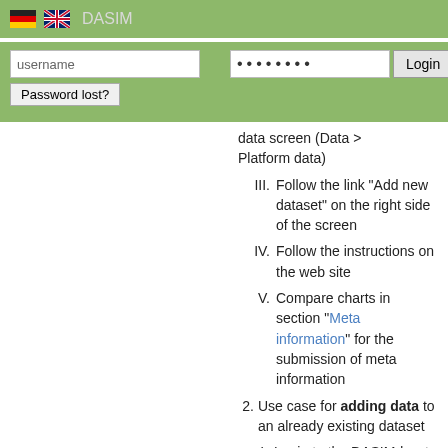[Figure (screenshot): DASIM web application header bar with German and UK flags, DASIM title, username input field, password input field (masked), Login button, and Password lost? button]
data screen (Data > Platform data)
III. Follow the link “Add new dataset” on the right side of the screen
IV. Follow the instructions on the web site
V. Compare charts in section "Meta information" for the submission of meta information
2. Use case for adding data to an already existing dataset
I. Login to the DASIMdw at www.dasim.de or